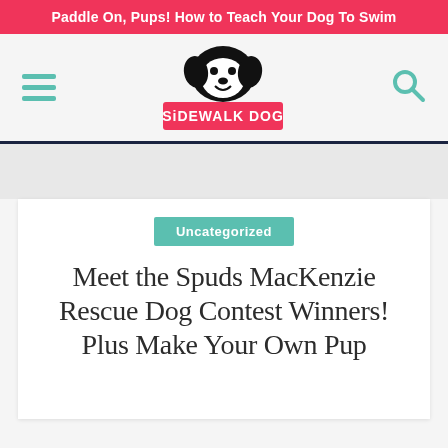Paddle On, Pups! How to Teach Your Dog To Swim
[Figure (logo): Sidewalk Dog logo: black dog head illustration above a pink rectangle with white text 'SiDEWALK DOG']
Uncategorized
Meet the Spuds MacKenzie Rescue Dog Contest Winners! Plus Make Your Own Pup